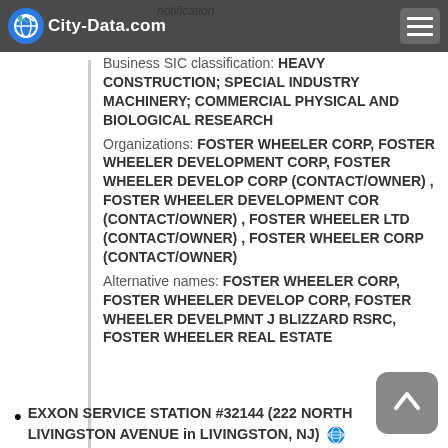City-Data.com
notification
Business SIC classification: HEAVY CONSTRUCTION; SPECIAL INDUSTRY MACHINERY; COMMERCIAL PHYSICAL AND BIOLOGICAL RESEARCH
Organizations: FOSTER WHEELER CORP, FOSTER WHEELER DEVELOPMENT CORP, FOSTER WHEELER DEVELOP CORP (CONTACT/OWNER) , FOSTER WHEELER DEVELOPMENT COR (CONTACT/OWNER) , FOSTER WHEELER LTD (CONTACT/OWNER) , FOSTER WHEELER CORP (CONTACT/OWNER)
Alternative names: FOSTER WHEELER CORP, FOSTER WHEELER DEVELOP CORP, FOSTER WHEELER DEVELPMNT J BLIZZARD RSRC, FOSTER WHEELER REAL ESTATE
EXXON SERVICE STATION #32144 (222 NORTH LIVINGSTON AVENUE in LIVINGSTON, NJ)